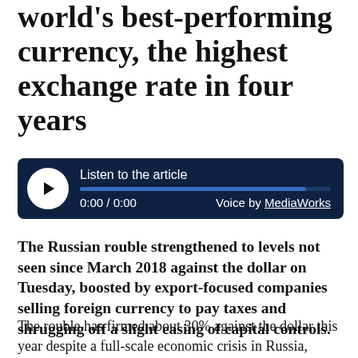world's best-performing currency, the highest exchange rate in four years
[Figure (other): Audio player widget with dark navy background. Play button (white circle with black triangle), label 'Listen to the article', progress bar, time '0:00 / 0:00', and 'Voice by MediaWorks' text.]
The Russian rouble strengthened to levels not seen since March 2018 against the dollar on Tuesday, boosted by export-focused companies selling foreign currency to pay taxes and shrugging off a slight easing of capital controls.
The rouble has firmed about 30% against the dollar this year despite a full-scale economic crisis in Russia, making it the world's best-